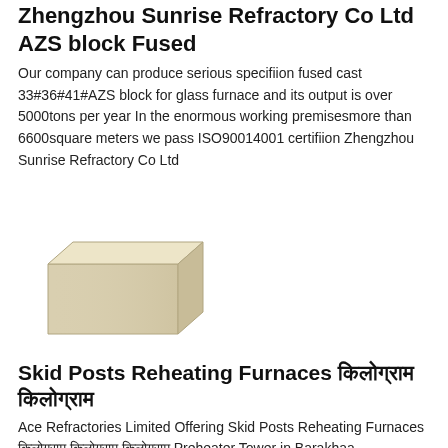Zhengzhou Sunrise Refractory Co Ltd AZS block Fused
Our company can produce serious specifiion fused cast 33#36#41#AZS block for glass furnace and its output is over 5000tons per year In the enormous working premisesmore than 6600square meters we pass ISO90014001 certifiion Zhengzhou Sunrise Refractory Co Ltd
[Figure (photo): Photo of a pale beige/cream colored rectangular AZS refractory block, shown in a three-quarter perspective view]
Skid Posts Reheating Furnaces [Hindi text] [Hindi text]
Ace Refractories Limited Offering Skid Posts Reheating Furnaces [Hindi text] [Hindi text] Preheater Tower in Barakhaa